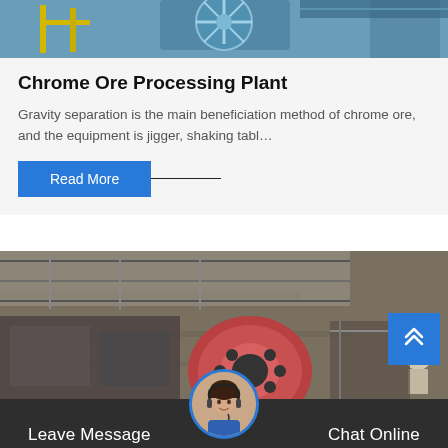[Figure (photo): Aerial/overhead view of industrial processing equipment with blue fan/conveyor and yellow scaffolding]
Chrome Ore Processing Plant
Gravity separation is the main beneficiation method of chrome ore, and the equipment is jigger, shaking tabl…
Read More
[Figure (photo): Industrial mining or crushing plant with large red/grey machinery, metal framework, and stone walls in background]
Leave Message
Chat Online